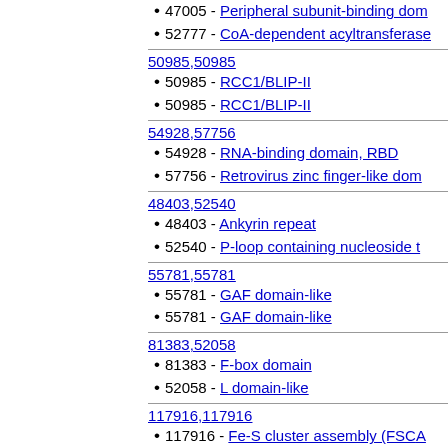47005 - Peripheral subunit-binding domain
52777 - CoA-dependent acyltransferase
50985,50985
50985 - RCC1/BLIP-II
50985 - RCC1/BLIP-II
54928,57756
54928 - RNA-binding domain, RBD
57756 - Retrovirus zinc finger-like domain
48403,52540
48403 - Ankyrin repeat
52540 - P-loop containing nucleoside t
55781,55781
55781 - GAF domain-like
55781 - GAF domain-like
81383,52058
81383 - F-box domain
52058 - L domain-like
117916,117916
117916 - Fe-S cluster assembly (FSCA
117916 - Fe-S cluster assembly (FSCA
75005,49899
75005 - Arabinanase/levansucrase/inv
49899 - Concanavalin A-like lectins/g